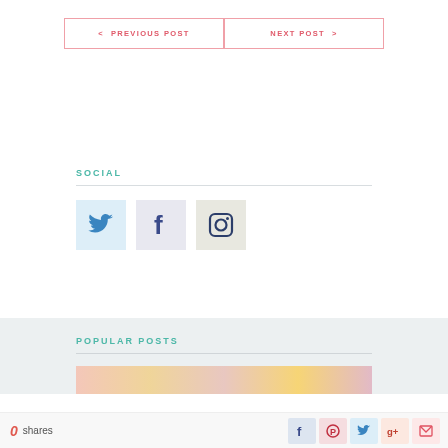< PREVIOUS POST
NEXT POST >
SOCIAL
[Figure (illustration): Three social media icon boxes: Twitter (blue bird), Facebook (f), Instagram (camera)]
POPULAR POSTS
[Figure (photo): Colorful image strip at bottom of popular posts section]
0 shares
[Figure (illustration): Share bar icons: Facebook, Pinterest, Twitter, Google+, Email]